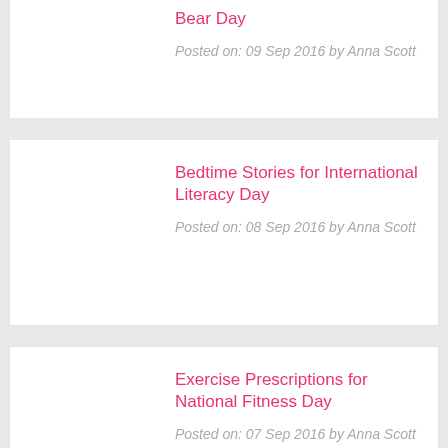Bear Day
Posted on: 09 Sep 2016 by Anna Scott
Bedtime Stories for International Literacy Day
Posted on: 08 Sep 2016 by Anna Scott
Exercise Prescriptions for National Fitness Day
Posted on: 07 Sep 2016 by Anna Scott